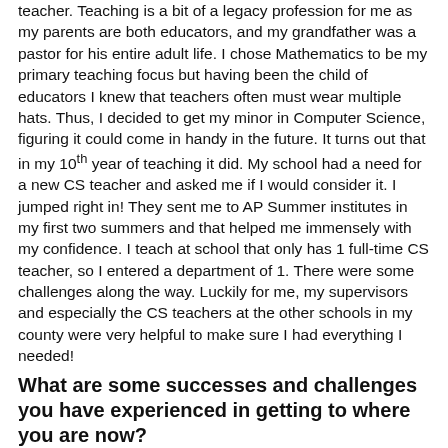teacher. Teaching is a bit of a legacy profession for me as my parents are both educators, and my grandfather was a pastor for his entire adult life. I chose Mathematics to be my primary teaching focus but having been the child of educators I knew that teachers often must wear multiple hats. Thus, I decided to get my minor in Computer Science, figuring it could come in handy in the future. It turns out that in my 10th year of teaching it did. My school had a need for a new CS teacher and asked me if I would consider it. I jumped right in! They sent me to AP Summer institutes in my first two summers and that helped me immensely with my confidence. I teach at school that only has 1 full-time CS teacher, so I entered a department of 1. There were some challenges along the way. Luckily for me, my supervisors and especially the CS teachers at the other schools in my county were very helpful to make sure I had everything I needed!
What are some successes and challenges you have experienced in getting to where you are now?
I would say one of the biggest challenges in Computer Science is finding the right resources and curriculum. In the